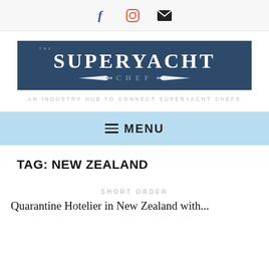Social icons: Facebook, Instagram, Email
[Figure (logo): The Superyacht Chef logo — dark navy banner with crossed knives and text 'THE SUPERYACHT CHEF']
AN INDUSTRY HUB TO CONNECT SUPERYACHT CHEFS
MENU
TAG: NEW ZEALAND
SHORT ORDER
Quarantine Hotelier in New Zealand with...